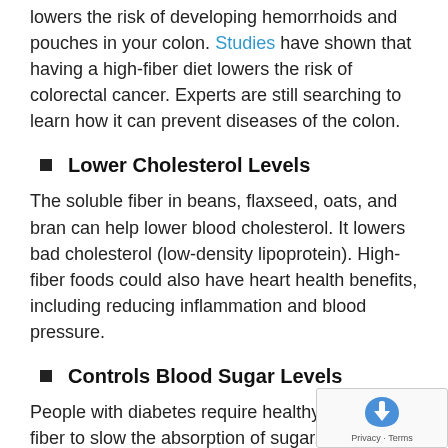lowers the risk of developing hemorrhoids and pouches in your colon. Studies have shown that having a high-fiber diet lowers the risk of colorectal cancer. Experts are still searching to learn how it can prevent diseases of the colon.
Lower Cholesterol Levels
The soluble fiber in beans, flaxseed, oats, and bran can help lower blood cholesterol. It lowers bad cholesterol (low-density lipoprotein). High-fiber foods could also have heart health benefits, including reducing inflammation and blood pressure.
Controls Blood Sugar Levels
People with diabetes require healthy diet plans need fiber to slow the absorption of sugar. This improves sugar levels in the blood. Taking a healthy diet with...